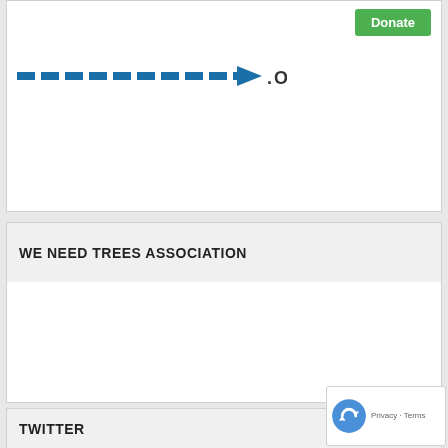[Figure (logo): Website logo showing stylized text with dashes and .ORG text in dark, with a Donate button in green]
WE NEED TREES ASSOCIATION
[Figure (logo): We Need Trees Association logo showing colorful hands (yellow, green, blue, red, brown) arranged in a circle around a green leaf/tree symbol]
TWITTER